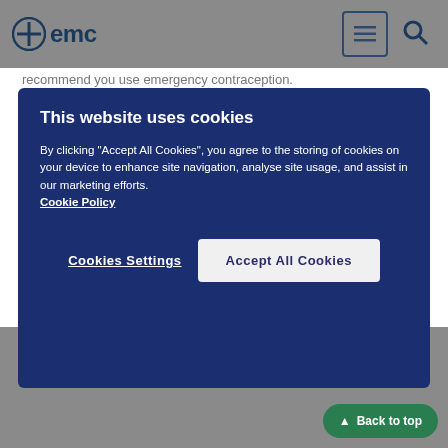emc
[Figure (screenshot): Cookie consent overlay on emc medical website with title 'This website uses cookies', body text about cookie policy, a 'Cookies Settings' button and an 'Accept All Cookies' button]
recommend you use emergency contraception.
Fewer than 7 pills left in the pack
Don't forget to use extra precautions for the next 7 days.
When you finish the strip of pills, start the next strip the next day without a break.
If you do not have a withdrawal bleed after you have finished the second strip, do a pregnancy test before starting another strip.
If you have missed one or more pills from the first week of your strip (days 1 to 7) and you had sex in that week you could become pregnant. Contact your doctor, family planning